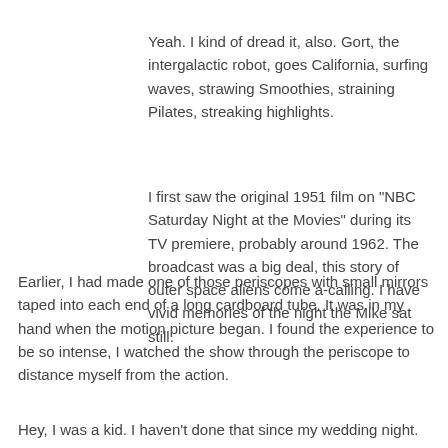Yeah. I kind of dread it, also. Gort, the intergalactic robot, goes California, surfing waves, strawing Smoothies, straining Pilates, streaking highlights.
I first saw the original 1951 film on "NBC Saturday Night at the Movies" during its TV premiere, probably around 1962. The broadcast was a big deal, this story of outer space aliens come a-calling. I have vivid memories of the night the Mike sat still.
Earlier, I had made one of those periscopes with small mirrors taped into each end of a long cardboard tube. It was in my hand when the motion picture began. I found the experience to be so intense, I watched the show through the periscope to distance myself from the action.
Hey, I was a kid. I haven't done that since my wedding night.